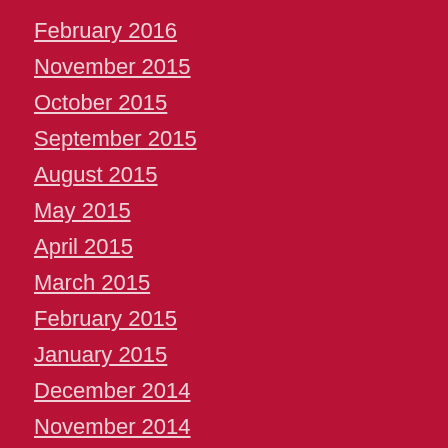February 2016
November 2015
October 2015
September 2015
August 2015
May 2015
April 2015
March 2015
February 2015
January 2015
December 2014
November 2014
October 2014